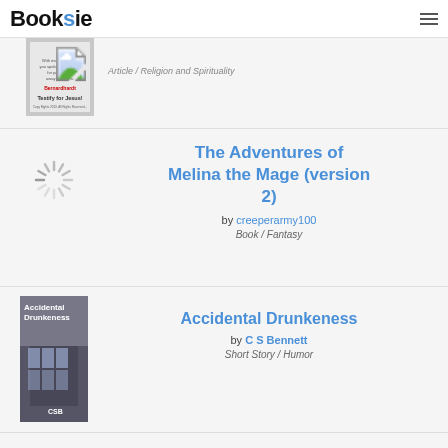Booksie
Article / Religion and Spirituality
The Adventures of Melina the Mage (version 2) by creeperarmy100 Book / Fantasy
Accidental Drunkeness by C S Bennett Short Story / Humor
How to Boost your writing